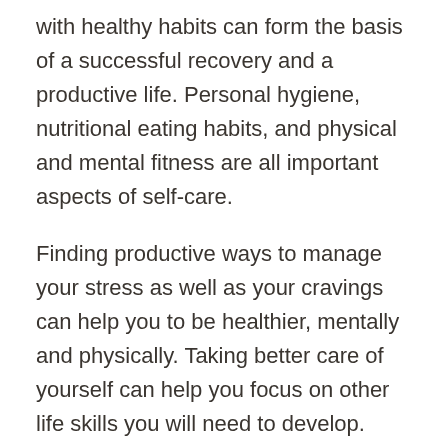with healthy habits can form the basis of a successful recovery and a productive life. Personal hygiene, nutritional eating habits, and physical and mental fitness are all important aspects of self-care.
Finding productive ways to manage your stress as well as your cravings can help you to be healthier, mentally and physically. Taking better care of yourself can help you focus on other life skills you will need to develop.
Learning how to prepare healthy meals can help you become more self-sufficient as well as physically healthier. While in addiction, you may not have thought much about what kind of food